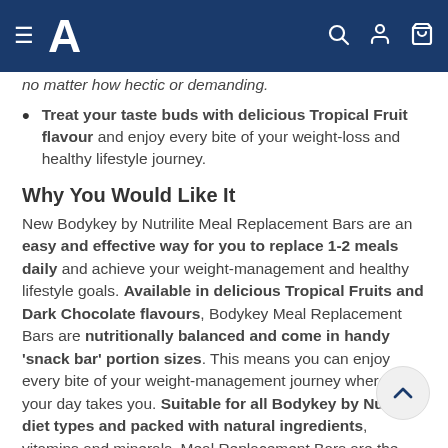A (logo navigation bar with hamburger menu, search, account, and cart icons)
no matter how hectic or demanding.
Treat your taste buds with delicious Tropical Fruit flavour and enjoy every bite of your weight-loss and healthy lifestyle journey.
Why You Would Like It
New Bodykey by Nutrilite Meal Replacement Bars are an easy and effective way for you to replace 1-2 meals daily and achieve your weight-management and healthy lifestyle goals. Available in delicious Tropical Fruits and Dark Chocolate flavours, Bodykey Meal Replacement Bars are nutritionally balanced and come in handy 'snack bar' portion sizes. This means you can enjoy every bite of your weight-management journey wherever your day takes you. Suitable for all Bodykey by Nutrilite diet types and packed with natural ingredients, vitamins and minerals. Meal Replacement Bars are the optimal way to achieve your optimal you.